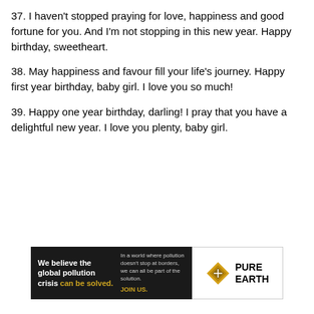37. I haven’t stopped praying for love, happiness and good fortune for you. And I’m not stopping in this new year. Happy birthday, sweetheart.
38. May happiness and favour fill your life’s journey. Happy first year birthday, baby girl. I love you so much!
39. Happy one year birthday, darling! I pray that you have a delightful new year. I love you plenty, baby girl.
[Figure (other): Advertisement banner for Pure Earth: 'We believe the global pollution crisis can be solved. In a world where pollution doesn’t stop at borders, we can all be part of the solution. JOIN US.' with Pure Earth diamond logo.]